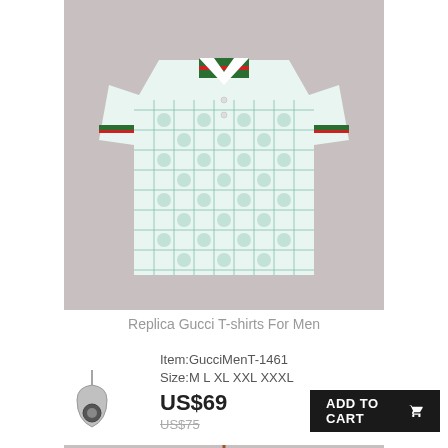[Figure (photo): A white Gucci replica polo shirt with green monogram pattern and red/green striped collar, displayed against a grey background]
Replica Gucci T-shirts For Men
Item:GucciMenT-1461
Size:M L XL XXL XXXL
[Figure (photo): Small tag/keychain accessory icon]
US$69
US$75
ADD TO CART
[Figure (photo): Partial image of another shirt on a hanger, showing collar area with red and green stripes]